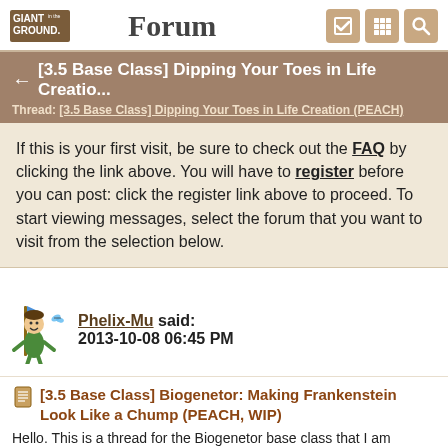GIANT in the PLAYGROUND. Forum
← [3.5 Base Class] Dipping Your Toes in Life Creatio...
Thread: [3.5 Base Class] Dipping Your Toes in Life Creation (PEACH)
If this is your first visit, be sure to check out the FAQ by clicking the link above. You will have to register before you can post: click the register link above to proceed. To start viewing messages, select the forum that you want to visit from the selection below.
Phelix-Mu said:
2013-10-08 06:45 PM
[3.5 Base Class] Biogenetor: Making Frankenstein Look Like a Chump (PEACH, WIP)
Hello. This is a thread for the Biogenetor base class that I am homebrewing. I need a place to format it all as appropriate to the forum, and a convenient reference point. Sorry if I've ripped off anyone's name; it's not exactly